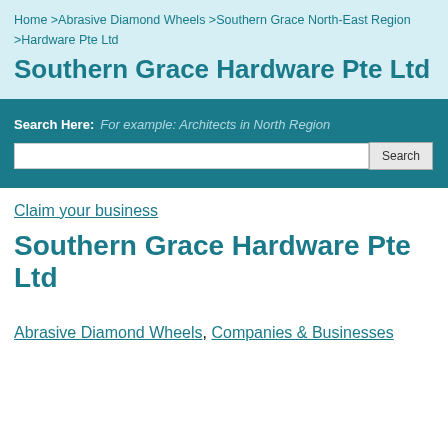Home >Abrasive Diamond Wheels >Southern Grace North-East Region >Hardware Pte Ltd
Southern Grace Hardware Pte Ltd
Search Here: For example: Architects in North Region
Claim your business
Southern Grace Hardware Pte Ltd
Abrasive Diamond Wheels, Companies & Businesses